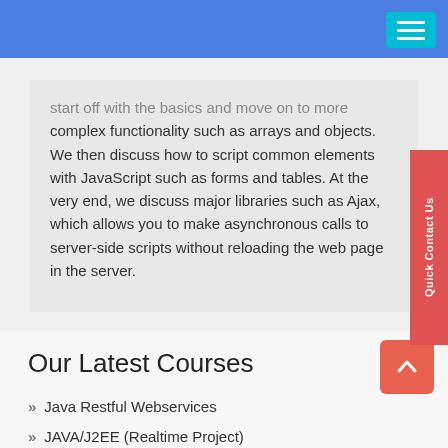start off with the basics and move on to more complex functionality such as arrays and objects. We then discuss how to script common elements with JavaScript such as forms and tables. At the very end, we discuss major libraries such as Ajax, which allows you to make asynchronous calls to server-side scripts without reloading the web page in the server.
Our Latest Courses
Java Restful Webservices
JAVA/J2EE (Realtime Project)